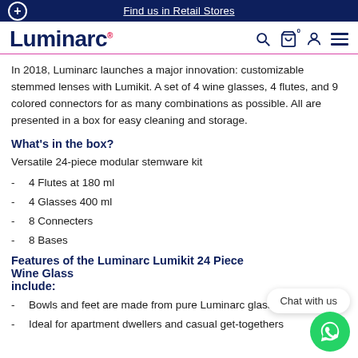Find us in Retail Stores
Luminarc
In 2018, Luminarc launches a major innovation: customizable stemmed lenses with Lumikit. A set of 4 wine glasses, 4 flutes, and 9 colored connectors for as many combinations as possible. All are presented in a box for easy cleaning and storage.
What's in the box?
Versatile 24-piece modular stemware kit
4 Flutes at 180 ml
4 Glasses 400 ml
8 Connecters
8 Bases
Features of the Luminarc Lumikit 24 Piece Wine Glass include:
Bowls and feet are made from pure Luminarc glass
Ideal for apartment dwellers and casual get-togethers